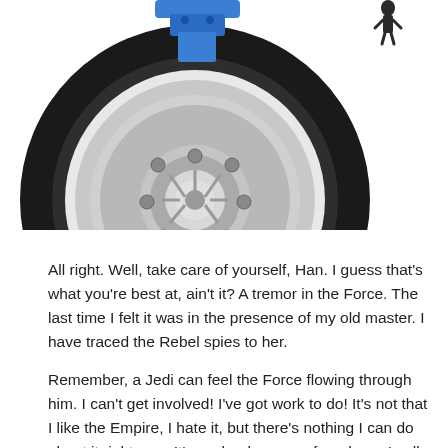[Figure (photo): Partial view of a vintage car wheel with black tire, chrome hub, and blue suspension components visible at the top. A small dark figurine is partially visible at the top right.]
All right. Well, take care of yourself, Han. I guess that's what you're best at, ain't it? A tremor in the Force. The last time I felt it was in the presence of my old master. I have traced the Rebel spies to her.
Remember, a Jedi can feel the Force flowing through him. I can't get involved! I've got work to do! It's not that I like the Empire, I hate it, but there's nothing I can do about it right now. It's such a long way from here. I call it luck.
The more you tighten your grip, Tarkin, the more star systems will slip through your fingers. In my experience,